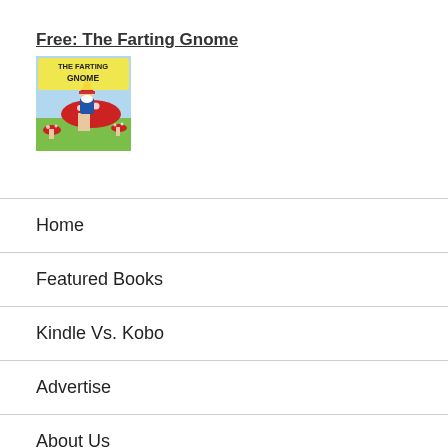Free: The Farting Gnome
[Figure (illustration): Book cover of 'The Farting Gnome' showing a cartoon gnome sitting on a red mushroom with text and colorful outdoor scene]
Home
Featured Books
Kindle Vs. Kobo
Advertise
About Us